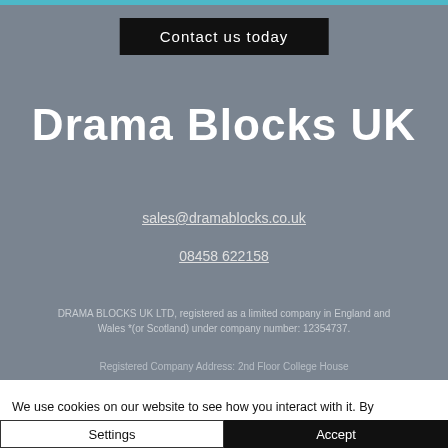Contact us today
Drama Blocks UK
sales@dramablocks.co.uk
08458 622158
DRAMA BLOCKS UK LTD, registered as a limited company in England and Wales *(or Scotland) under company number: 12354737.
Registered Company Address: 2nd Floor College House
We use cookies on our website to see how you interact with it. By accepting, you agree to our use of such cookies. Privacy Policy
Settings
Accept